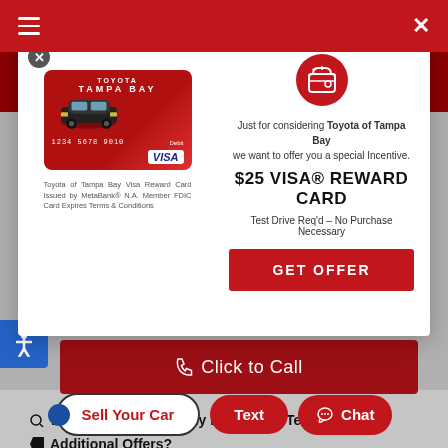Toyota of Tampa Bay - navigation bar with hamburger menu and close button
[Figure (screenshot): Toyota of Tampa Bay Visa Reward Card image - red card with Toyota car graphic and VISA logo]
Toyota of Tampa Bay Visa Reward Card Issued by MetaBank® N.A. Member FDIC Card Expires Terms & Conditions
Just for considering Toyota of Tampa Bay we want to offer you a special Incentive.
$25 VISA® REWARD CARD
Test Drive Req'd – No Purchase Necessary
GET OFFER
Click to Call
Details  Send to My Phone  Text Us
Additional Offers?
Sell Your Car
Text
Chat